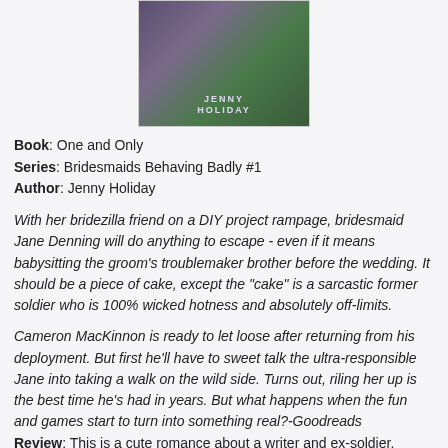[Figure (photo): Book cover of 'One and Only' by Jenny Holiday, part of the Bridesmaids Behaving Badly series. Cover shows floral/outdoor background with author name and title text.]
Book: One and Only
Series: Bridesmaids Behaving Badly #1
Author: Jenny Holiday
With her bridezilla friend on a DIY project rampage, bridesmaid Jane Denning will do anything to escape - even if it means babysitting the groom's troublemaker brother before the wedding. It should be a piece of cake, except the "cake" is a sarcastic former soldier who is 100% wicked hotness and absolutely off-limits.
Cameron MacKinnon is ready to let loose after returning from his deployment. But first he'll have to sweet talk the ultra-responsible Jane into taking a walk on the wild side. Turns out, riling her up is the best time he's had in years. But what happens when the fun and games start to turn into something real?-Goodreads
Review: This is a cute romance about a writer and ex-soldier. Jane's best friend is getting married and is acting like